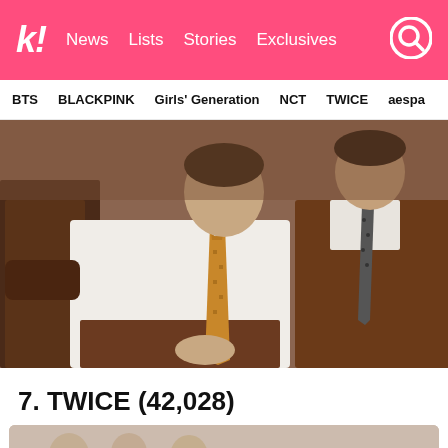k! News  Lists  Stories  Exclusives
BTS  BLACKPINK  Girls' Generation  NCT  TWICE  aespa
[Figure (photo): Two young men in brown suits sitting together. The man in the center wears a white shirt with a gold patterned tie. The man on the right wears a brown suit with a dark polka-dot tie.]
7. TWICE (42,028)
[Figure (photo): Partially visible photo at bottom of page with beige/tan tones, appears to be a K-pop group photo.]